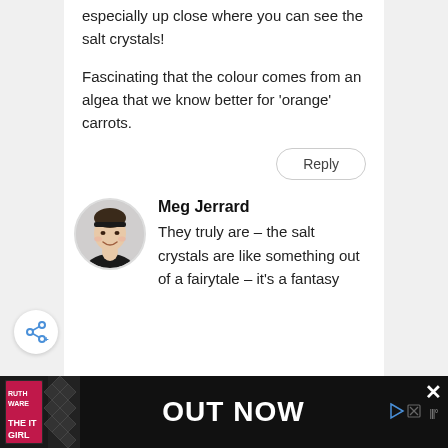especially up close where you can see the salt crystals!
Fascinating that the colour comes from an algea that we know better for ‘orange’ carrots.
Reply
[Figure (photo): Circular avatar photo of Meg Jerrard, a smiling woman with light skin and dark hair accessories, wearing a dark top.]
Meg Jerrard
They truly are – the salt crystals are like something out of a fairytale – it’s a fantasy
[Figure (infographic): Advertisement banner for a book called 'THE IT GIRL' by Ruth Ware, with text 'OUT NOW' in large white letters on dark background. Contains play and close buttons.]